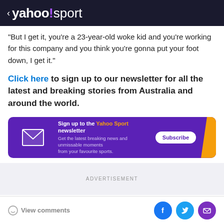< yahoo!sport
“But I get it, you’re a 23-year-old woke kid and you’re working for this company and you think you’re gonna put your foot down, I get it.”
Click here to sign up to our newsletter for all the latest and breaking stories from Australia and around the world.
[Figure (infographic): Purple newsletter signup banner for Yahoo Sport. Shows envelope icon on left, text 'Sign up to the Yahoo Sport newsletter / Get the latest breaking news and unmissable moments from your favourite sports.' with a Subscribe button and orange diagonal accent on the right.]
ADVERTISEMENT
View comments